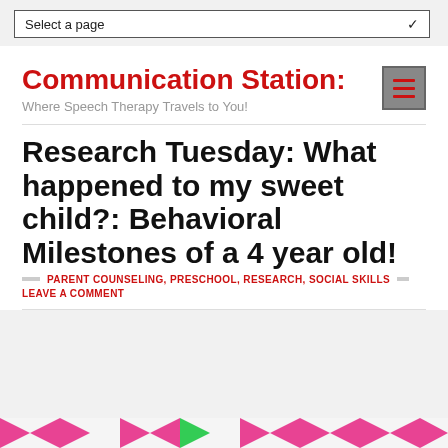Select a page
Communication Station:
Where Speech Therapy Travels to You!
Research Tuesday: What happened to my sweet child?: Behavioral Milestones of a 4 year old!
PARENT COUNSELING, PRESCHOOL, RESEARCH, SOCIAL SKILLS
LEAVE A COMMENT
[Figure (illustration): Colorful chevron/arrow pattern strip at the bottom of the page in pink and green colors]